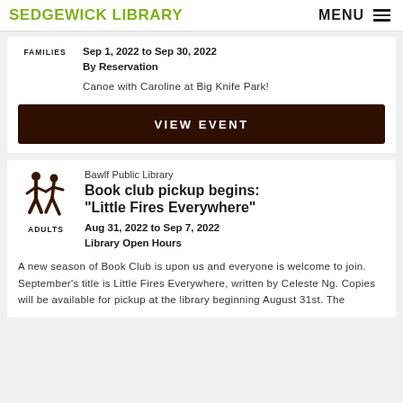SEDGEWICK LIBRARY  MENU
FAMILIES
Sep 1, 2022 to Sep 30, 2022
By Reservation
Canoe with Caroline at Big Knife Park!
VIEW EVENT
[Figure (illustration): Two adult figures walking hand-in-hand icon (families/adults icon in dark brown)]
ADULTS
Bawlf Public Library
Book club pickup begins: "Little Fires Everywhere"
Aug 31, 2022 to Sep 7, 2022
Library Open Hours
A new season of Book Club is upon us and everyone is welcome to join. September's title is Little Fires Everywhere, written by Celeste Ng. Copies will be available for pickup at the library beginning August 31st. The